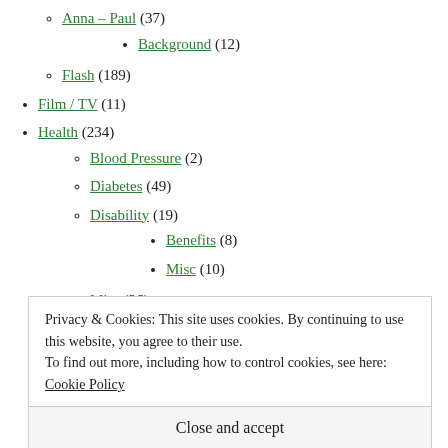Anna – Paul (37)
Background (12)
Flash (189)
Film / TV (11)
Health (234)
Blood Pressure (2)
Diabetes (49)
Disability (19)
Benefits (8)
Misc (10)
Misc (26)
Privacy & Cookies: This site uses cookies. By continuing to use this website, you agree to their use.
To find out more, including how to control cookies, see here: Cookie Policy
Close and accept
Cycling (7)